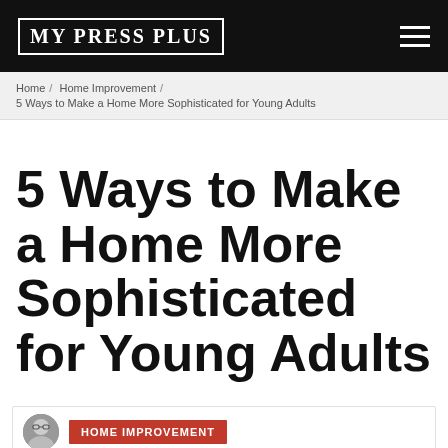MY PRESS PLUS
Home / Home Improvement / 5 Ways to Make a Home More Sophisticated for Young Adults
5 Ways to Make a Home More Sophisticated for Young Adults
HOME IMPROVEMENT